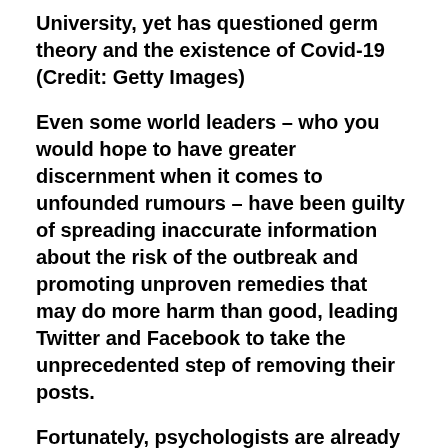University, yet has questioned germ theory and the existence of Covid-19 (Credit: Getty Images)
Even some world leaders – who you would hope to have greater discernment when it comes to unfounded rumours – have been guilty of spreading inaccurate information about the risk of the outbreak and promoting unproven remedies that may do more harm than good, leading Twitter and Facebook to take the unprecedented step of removing their posts.
Fortunately, psychologists are already studying this phenomenon. And what they find might suggest new ways to protect ourselves from lies and help stem the spread of this misinformation and foolish behaviour.
Information overload